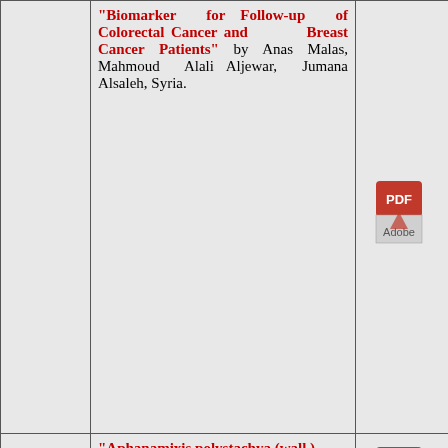| No. | Article Title & Authors | PDF |
| --- | --- | --- |
|  | "Biomarker for Follow-up of Colorectal Cancer and Breast Cancer Patients" by Anas Malas, Mahmoud Alali Aljewar, Jumana Alsaleh, Syria. | PDF |
| 05 | "Aphanamixis polystachya (wall.) Parker - An Important Ethnomedicinal Plant" by Shweta S. Saboo, R.Chavhan, G.G.Tapadiya, S.S.Khadabadi, India. | PDF |
| 06 | "Phytochemical Profiling and GC-MS Analysis of |  |